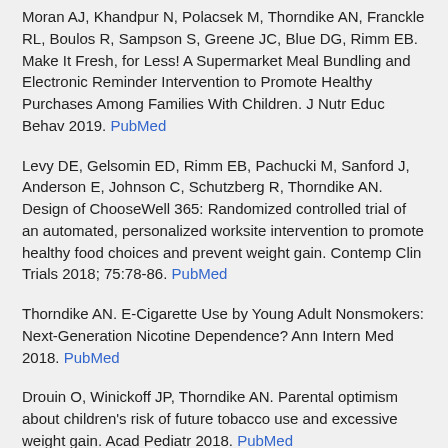Moran AJ, Khandpur N, Polacsek M, Thorndike AN, Franckle RL, Boulos R, Sampson S, Greene JC, Blue DG, Rimm EB. Make It Fresh, for Less! A Supermarket Meal Bundling and Electronic Reminder Intervention to Promote Healthy Purchases Among Families With Children. J Nutr Educ Behav 2019. PubMed
Levy DE, Gelsomin ED, Rimm EB, Pachucki M, Sanford J, Anderson E, Johnson C, Schutzberg R, Thorndike AN. Design of ChooseWell 365: Randomized controlled trial of an automated, personalized worksite intervention to promote healthy food choices and prevent weight gain. Contemp Clin Trials 2018; 75:78-86. PubMed
Thorndike AN. E-Cigarette Use by Young Adult Nonsmokers: Next-Generation Nicotine Dependence? Ann Intern Med 2018. PubMed
Drouin O, Winickoff JP, Thorndike AN. Parental optimism about children's risk of future tobacco use and excessive weight gain. Acad Pediatr 2018. PubMed